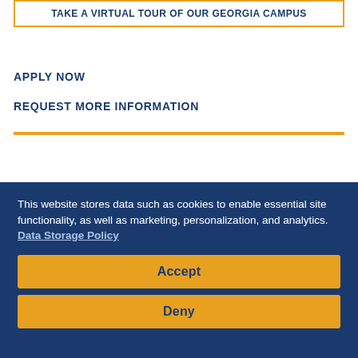TAKE A VIRTUAL TOUR OF OUR GEORGIA CAMPUS
APPLY NOW
REQUEST MORE INFORMATION
NEWS & EVENTS
This website stores data such as cookies to enable essential site functionality, as well as marketing, personalization, and analytics. Data Storage Policy
Accept
Deny